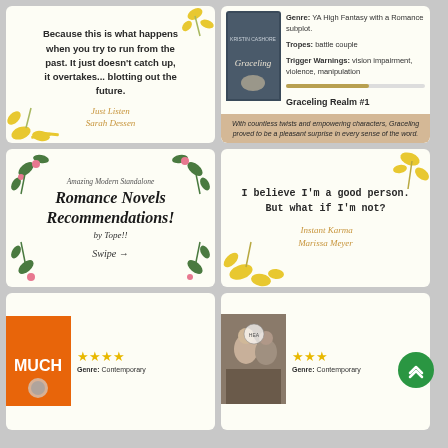[Figure (illustration): Quote card with floral decorations. Quote: 'Because this is what happens when you try to run from the past. It just doesn't catch up, it overtakes... blotting out the future.' Attribution: Just Listen, Sarah Dessen]
[Figure (infographic): Book review card for Graceling by Kristin Cashore. Genre: YA High Fantasy with a Romance subplot. Tropes: battle couple. Trigger Warnings: vision impairment, violence, manipulation. Graceling Realm #1. Review: 'With countless twists and empowering characters, Graceling proved to be a pleasant surprise in every sense of the word.']
[Figure (infographic): Title card: Amazing Modern Standalone Romance Novels Recommendations! by Tope!! Swipe →]
[Figure (illustration): Quote card with golden floral decorations. Quote: 'I believe I'm a good person. But what if I'm not?' Attribution: Instant Karma, Marissa Meyer]
[Figure (infographic): Book card for 'Much' with orange cover, 3.5 star rating, Genre: Contemporary]
[Figure (infographic): Book card with couple photo and HEA badge, 3 star rating, Genre: Contemporary]